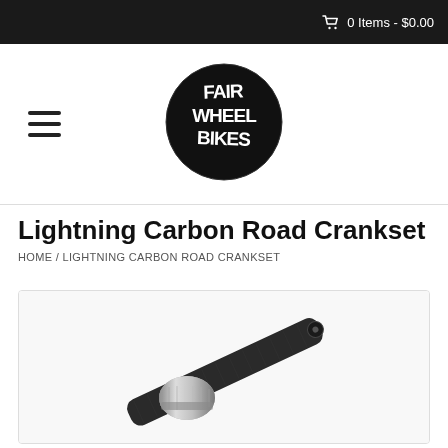0 Items - $0.00
[Figure (logo): Fair Wheel Bikes circular black logo with white distressed text]
Lightning Carbon Road Crankset
HOME / LIGHTNING CARBON ROAD CRANKSET
[Figure (photo): Lightning Carbon Road Crankset product photo showing a black carbon crank arm with silver spindle/bottom bracket interface]